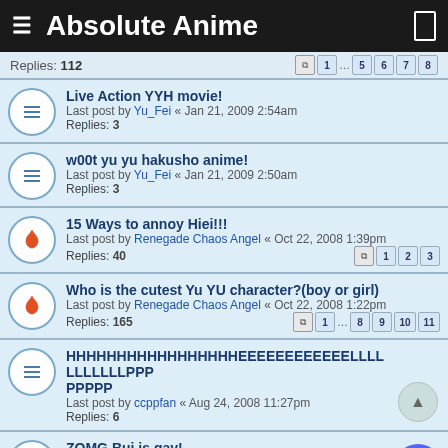Absolute Anime
Replies: 112
Live Action YYH movie!
Last post by Yu_Fei « Jan 21, 2009 2:54am
Replies: 3
w00t yu yu hakusho anime!
Last post by Yu_Fei « Jan 21, 2009 2:50am
Replies: 3
15 Ways to annoy Hiei!!!
Last post by Renegade Chaos Angel « Oct 22, 2008 1:39pm
Replies: 40
Who is the cutest Yu YU character?(boy or girl)
Last post by Renegade Chaos Angel « Oct 22, 2008 1:22pm
Replies: 165
HHHHHHHHHHHHHHHHHEEEEEEEEEEEELLLLLLLLLLLPPPPPPPPP
Last post by ccppfan « Aug 24, 2008 11:27pm
Replies: 6
ZOMG Bui is gay!
Last post by Azuma Takara « Aug 15, 2008 10:52am
Replies: 33